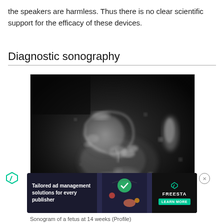the speakers are harmless. Thus there is no clear scientific support for the efficacy of these devices.
Diagnostic sonography
[Figure (photo): Black and white ultrasound sonogram image of a fetus at 14 weeks, profile view.]
Sonogram of a fetus at 14 weeks (Profile)